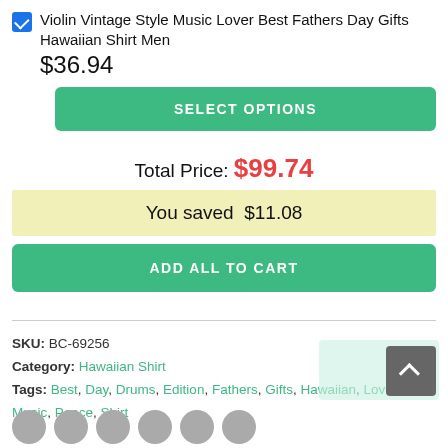Violin Vintage Style Music Lover Best Fathers Day Gifts Hawaiian Shirt Men
$36.94
SELECT OPTIONS
Total Price: $99.74
You saved $11.08
ADD ALL TO CART
SKU: BC-69256
Category: Hawaiian Shirt
Tags: Best, Day, Drums, Edition, Fathers, Gifts, Hawaiian, Love, Men, Music, Peace, Shirt